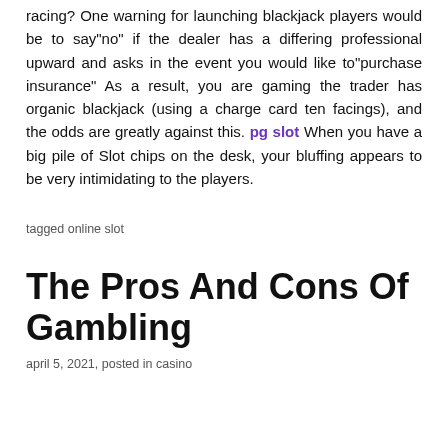racing? One warning for launching blackjack players would be to say"no" if the dealer has a differing professional upward and asks in the event you would like to"purchase insurance" As a result, you are gaming the trader has organic blackjack (using a charge card ten facings), and the odds are greatly against this. pg slot When you have a big pile of Slot chips on the desk, your bluffing appears to be very intimidating to the players.
tagged online slot
The Pros And Cons Of Gambling
april 5, 2021, posted in casino